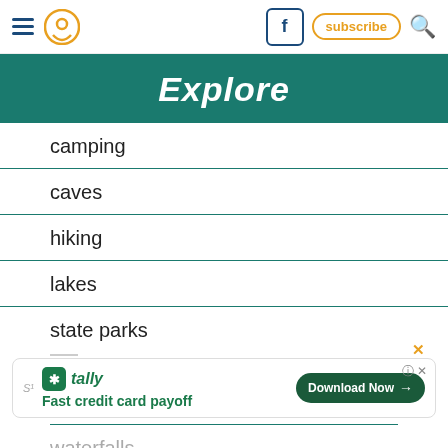Navigation header with hamburger menu, pin icon, Facebook icon, subscribe button, search icon
Explore
camping
caves
hiking
lakes
state parks
[Figure (other): Tally advertisement: Fast credit card payoff, Download Now button]
waterfalls